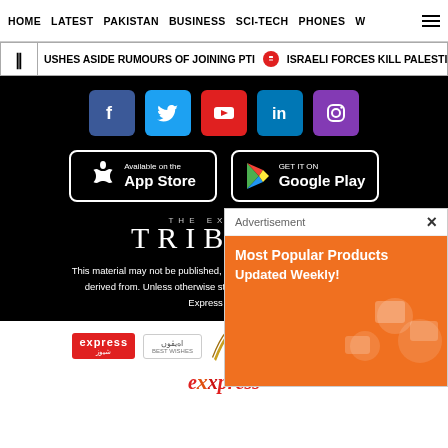HOME   LATEST   PAKISTAN   BUSINESS   SCI-TECH   PHONES   W
USHES ASIDE RUMOURS OF JOINING PTI   ISRAELI FORCES KILL PALESTINIAN MAN
[Figure (screenshot): Social media icons row: Facebook (blue), Twitter (blue), YouTube (red), LinkedIn (blue), Instagram (purple)]
[Figure (screenshot): App Store and Google Play download buttons]
[Figure (logo): The Express Tribune logo in white on black background]
This material may not be published, broadcast, rewritten, redistributed or derived from. Unless otherwise stated, all content is copyrighted © Express Tribune.
[Figure (logo): Partner logos row: Express News, Akhbar-e-Jahan, Cricket Pakistan, myBono, and another logo]
[Figure (logo): Express logo in stylized red/orange text at bottom]
[Figure (infographic): Advertisement overlay: Most Popular Products Updated Weekly! with orange background and product icons]